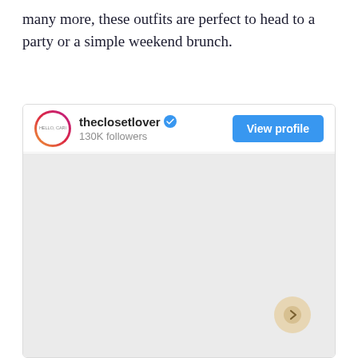many more, these outfits are perfect to head to a party or a simple weekend brunch.
[Figure (screenshot): Instagram profile widget showing 'theclosetlover' account with verified badge, 130K followers, and a 'View profile' blue button. Below is a grey content area representing an Instagram post carousel.]